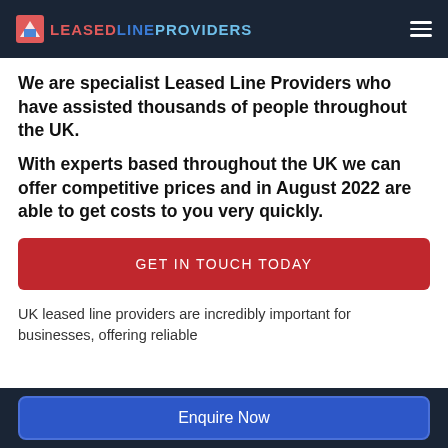LEASEDLINEPROVIDERS
We are specialist Leased Line Providers who have assisted thousands of people throughout the UK.
With experts based throughout the UK we can offer competitive prices and in August 2022 are able to get costs to you very quickly.
GET IN TOUCH TODAY
UK leased line providers are incredibly important for businesses, offering reliable
Enquire Now